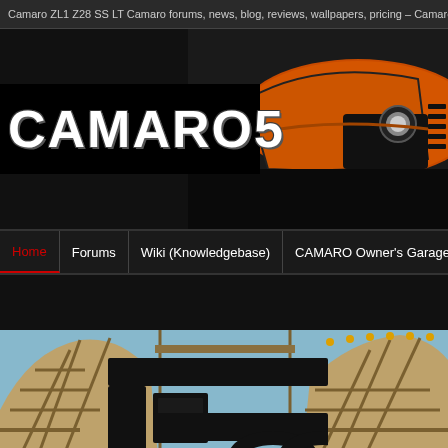Camaro ZL1 Z28 SS LT Camaro forums, news, blog, reviews, wallpapers, pricing – Camaro5.com
[Figure (screenshot): Website header with CAMARO5 logo text on black background and orange Camaro car on the right side]
CAMARO5
Home | Forums | Wiki (Knowledgebase) | CAMARO Owner's Garage | C
[Figure (photo): Roller coaster wooden structure with blue sky background, overlaid with a black stylized logo mark resembling stacked rectangles and the number 8]